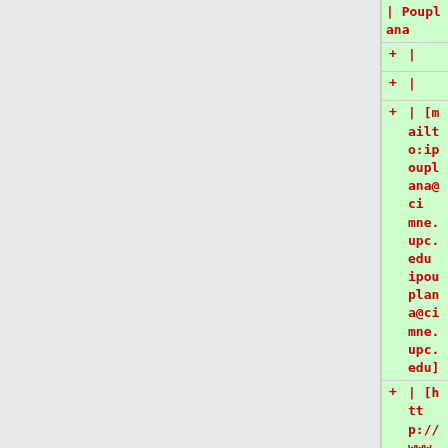| Pouplana
+ |
+ |
+ | [mailto:ipouplana@cimne.upc.edu ipouplana@cimne.upc.edu]
+ | [http://www.cimne.com/verperfil/18448 "Ignasi"]
+ |<small>([[User talk:ipouplana |Talk]]| [[Special:Contributions/ipouplana |recent contrib]])</small>
+ |
+ |-
+ |
+ * Ing. Ilaria Iaconeta
+ |